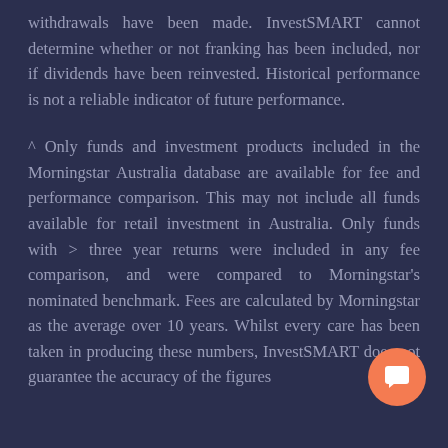withdrawals have been made. InvestSMART cannot determine whether or not franking has been included, nor if dividends have been reinvested. Historical performance is not a reliable indicator of future performance.
^ Only funds and investment products included in the Morningstar Australia database are available for fee and performance comparison. This may not include all funds available for retail investment in Australia. Only funds with > three year returns were included in any fee comparison, and were compared to Morningstar's nominated benchmark. Fees are calculated by Morningstar as the average over 10 years. Whilst every care has been taken in producing these numbers, InvestSMART does not guarantee the accuracy of the figures
[Figure (other): Orange circular chat/message button with white speech bubble icon, positioned at bottom right of page]